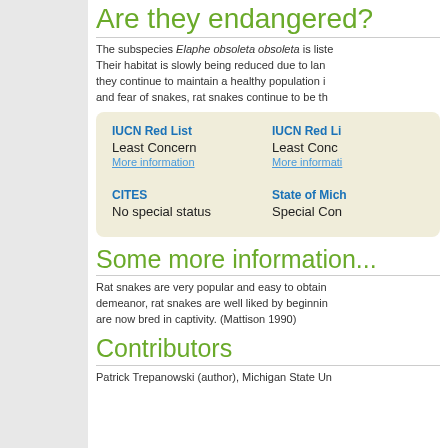Are they endangered?
The subspecies Elaphe obsoleta obsoleta is liste... Their habitat is slowly being reduced due to land... they continue to maintain a healthy population in... and fear of snakes, rat snakes continue to be th...
| IUCN Red List | IUCN Red Li... |
| --- | --- |
| Least Concern | Least Conc... |
| More information | More informati... |
| CITES | State of Mich... |
| No special status | Special Con... |
Some more information...
Rat snakes are very popular and easy to obtain... demeanor, rat snakes are well liked by beginnin... are now bred in captivity. (Mattison 1990)
Contributors
Patrick Trepanowski (author), Michigan State Un...